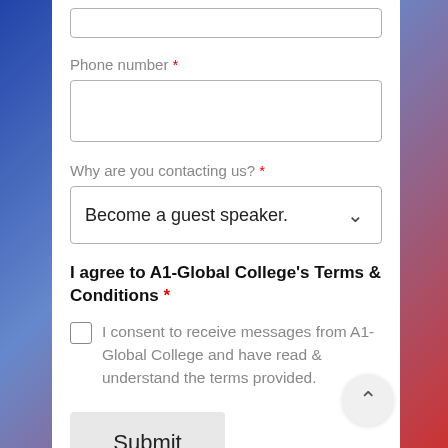Phone number *
Why are you contacting us? *
Become a guest speaker.
I agree to A1-Global College's Terms & Conditions *
I consent to receive messages from A1-Global College and have read & understand the terms provided.
Submit